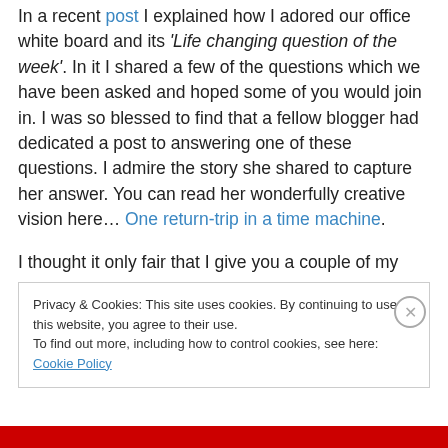In a recent post I explained how I adored our office white board and its 'Life changing question of the week'. In it I shared a few of the questions which we have been asked and hoped some of you would join in. I was so blessed to find that a fellow blogger had dedicated a post to answering one of these questions. I admire the story she shared to capture her answer. You can read her wonderfully creative vision here… One return-trip in a time machine.
I thought it only fair that I give you a couple of my own
Privacy & Cookies: This site uses cookies. By continuing to use this website, you agree to their use.
To find out more, including how to control cookies, see here: Cookie Policy